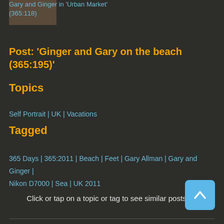Gary and Ginger in 'Urban Market' (365:118)
Post: 'Ginger and Gary on the beach (365:195)'
Topics
Self Portrait | UK | Vacations
Tagged
365 Days | 365:2011 | Beach | Feet | Gary Allman | Gary and Ginger | Nikon D7000 | Sea | UK 2011
Click or tap on a topic or tag to see similar posts.